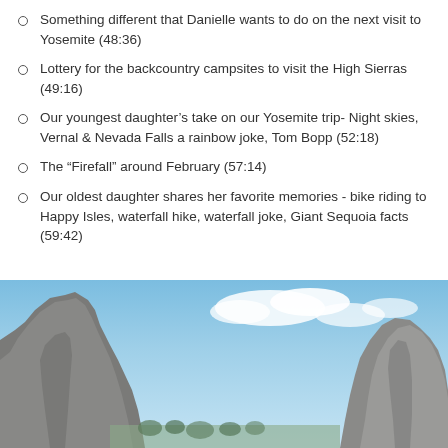Something different that Danielle wants to do on the next visit to Yosemite (48:36)
Lottery for the backcountry campsites to visit the High Sierras (49:16)
Our youngest daughter’s take on our Yosemite trip- Night skies, Vernal & Nevada Falls a rainbow joke, Tom Bopp (52:18)
The “Firefall” around February (57:14)
Our oldest daughter shares her favorite memories - bike riding to Happy Isles, waterfall hike, waterfall joke, Giant Sequoia facts (59:42)
[Figure (photo): Yosemite valley photo showing granite cliffs (El Capitan on the left) against a blue sky with some clouds]